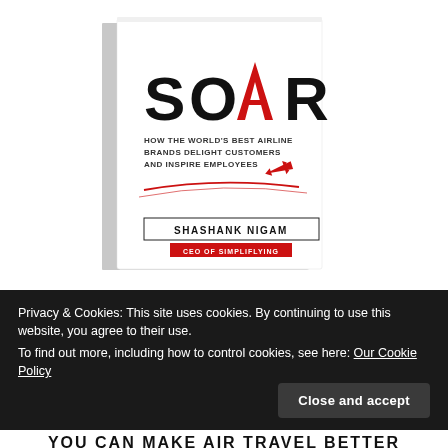[Figure (illustration): Book cover for 'SOAR: How The World's Best Airline Brands Delight Customers And Inspire Employees' by Shashank Nigam, CEO of Simpliflying. White cover with large black text SOAR where the A is a red airplane silhouette, red swoosh lines below, author name in black, red banner beneath with white text CEO OF SIMPLIFLYING.]
Privacy & Cookies: This site uses cookies. By continuing to use this website, you agree to their use. To find out more, including how to control cookies, see here: Our Cookie Policy
Close and accept
YOU CAN MAKE AIR TRAVEL BETTER